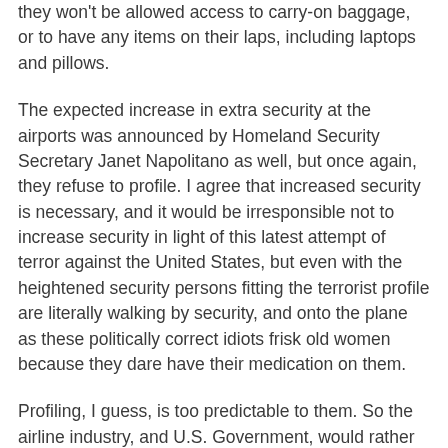they won't be allowed access to carry-on baggage, or to have any items on their laps, including laptops and pillows.
The expected increase in extra security at the airports was announced by Homeland Security Secretary Janet Napolitano as well, but once again, they refuse to profile. I agree that increased security is necessary, and it would be irresponsible not to increase security in light of this latest attempt of terror against the United States, but even with the heightened security persons fitting the terrorist profile are literally walking by security, and onto the plane as these politically correct idiots frisk old women because they dare have their medication on them.
Profiling, I guess, is too predictable to them. So the airline industry, and U.S. Government, would rather look the other way as Muslim males get on board. The theory is that if the measures are designed to be unpredictable, it will keep the terrorists from recruiting average looking folks to do their dirty work.
While checking the bags of law-abiding passengers,